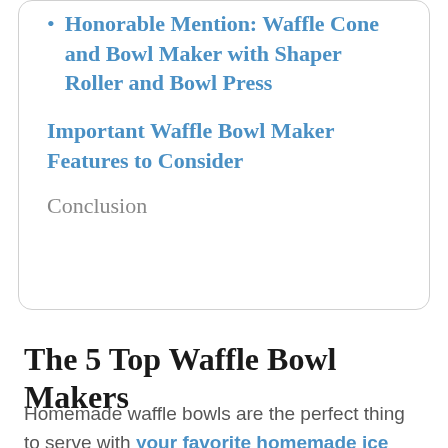Honorable Mention: Waffle Cone and Bowl Maker with Shaper Roller and Bowl Press
Important Waffle Bowl Maker Features to Consider
Conclusion
The 5 Top Waffle Bowl Makers
Homemade waffle bowls are the perfect thing to serve with your favorite homemade ice cream. Having your own